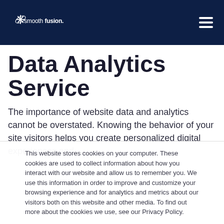smoothfusion
Data Analytics Service
The importance of website data and analytics cannot be overstated. Knowing the behavior of your site visitors helps you create personalized digital experiences and
This website stores cookies on your computer. These cookies are used to collect information about how you interact with our website and allow us to remember you. We use this information in order to improve and customize your browsing experience and for analytics and metrics about our visitors both on this website and other media. To find out more about the cookies we use, see our Privacy Policy.